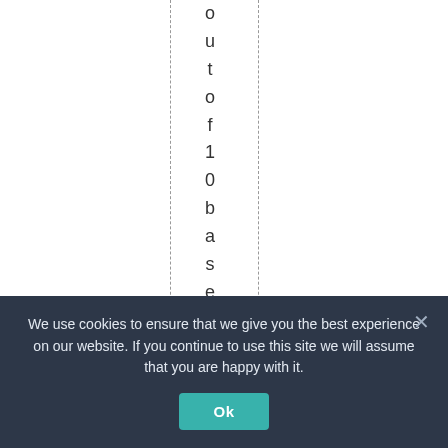out of 10 based on 53 ra
We use cookies to ensure that we give you the best experience on our website. If you continue to use this site we will assume that you are happy with it.